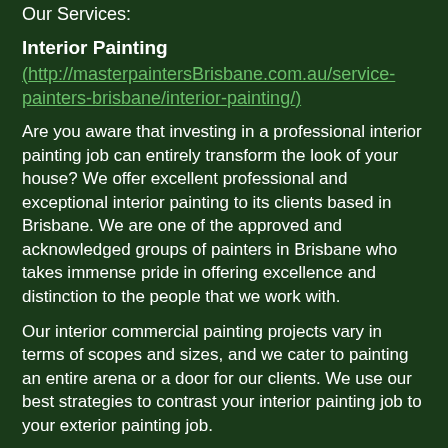Our Services:
Interior Painting
(http://masterpaintersBrisbane.com.au/service-painters-brisbane/interior-painting/)
Are you aware that investing in a professional interior painting job can entirely transform the look of your house? We offer excellent professional and exceptional interior painting to its clients based in Brisbane. We are one of the approved and acknowledged groups of painters in Brisbane who takes immense pride in offering excellence and distinction to the people that we work with.
Our interior commercial painting projects vary in terms of scopes and sizes, and we cater to painting an entire arena or a door for our clients. We use our best strategies to contrast your interior painting job to your exterior painting job.